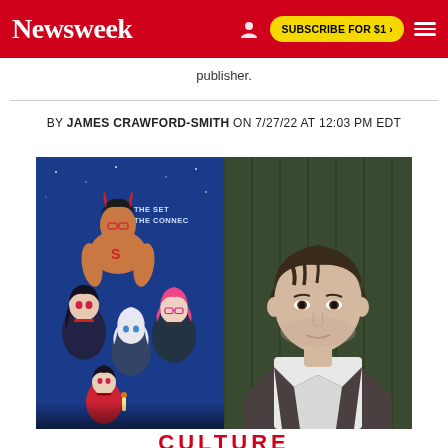Newsweek | SUBSCRIBE FOR $1 >
publisher.
BY JAMES CRAWFORD-SMITH ON 7/27/22 AT 12:03 PM EDT
[Figure (photo): Left: Anime-style book cover showing multiple colorful anime characters with text 'THE SET THE CONNEC'. Right: Portrait photo of a young man with brown hair wearing a dark jacket over a white t-shirt, standing against a dark green wood panel background.]
CULTURE